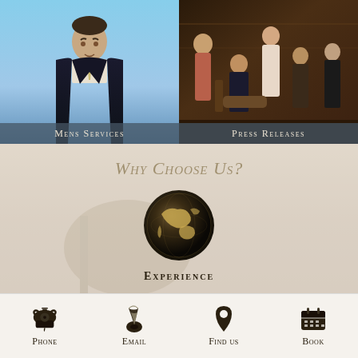[Figure (photo): Man in dark suit with light tie against blue sky background, labeled Mens Services]
[Figure (photo): Group of formally dressed people in a vintage setting, labeled Press Releases]
Why Choose Us?
[Figure (illustration): Circular globe/world icon with dark background and golden continents]
Experience
With over 35 years of experience, Alterations Boutique have become London's foremost experts in garment
Phone  Email  Find us  Book